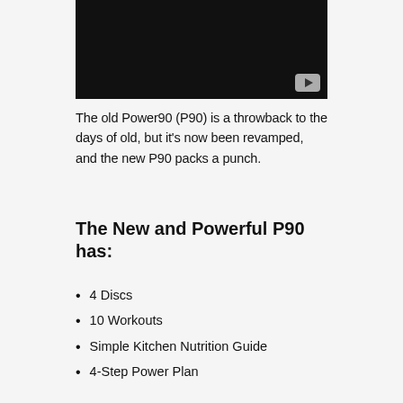[Figure (screenshot): Black video player thumbnail with YouTube play button icon in bottom-right corner]
The old Power90 (P90) is a throwback to the days of old, but it's now been revamped, and the new P90 packs a punch.
The New and Powerful P90 has:
4 Discs
10 Workouts
Simple Kitchen Nutrition Guide
4-Step Power Plan